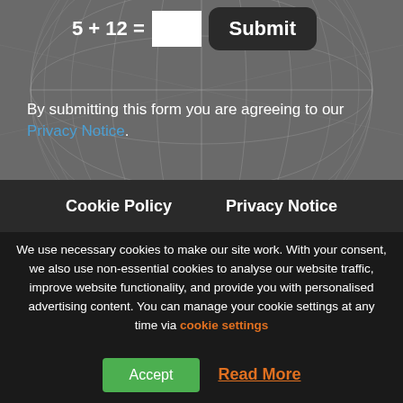[Figure (illustration): Dark grey background with globe/sphere wireframe graphic. A CAPTCHA form row shows '5 + 12 =' with a white input box and a dark rounded 'Submit' button overlaid on the globe.]
By submitting this form you are agreeing to our Privacy Notice.
Cookie Policy   Privacy Notice
We use necessary cookies to make our site work. With your consent, we also use non-essential cookies to analyse our website traffic, improve website functionality, and provide you with personalised advertising content. You can manage your cookie settings at any time via cookie settings
Accept   Read More